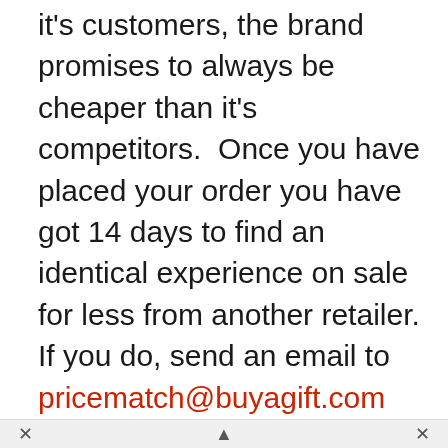Buyagift offers a price promise to all it's customers, the brand promises to always be cheaper than it's competitors. Once you have placed your order you have got 14 days to find an identical experience on sale for less from another retailer. If you do, send an email to pricematch@buyagift.com with the details and as soon as the staff at BuyaGift confirms it, you will get your refund.